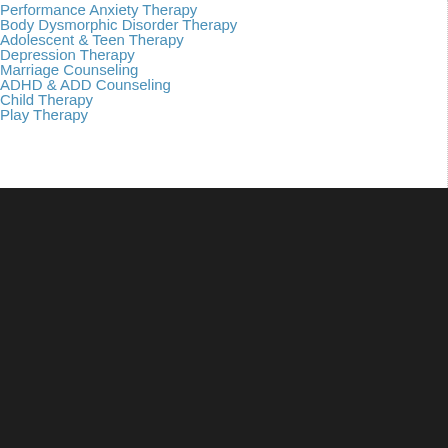Performance Anxiety Therapy
Body Dysmorphic Disorder Therapy
Adolescent & Teen Therapy
Depression Therapy
Marriage Counseling
ADHD & ADD Counseling
Child Therapy
Play Therapy